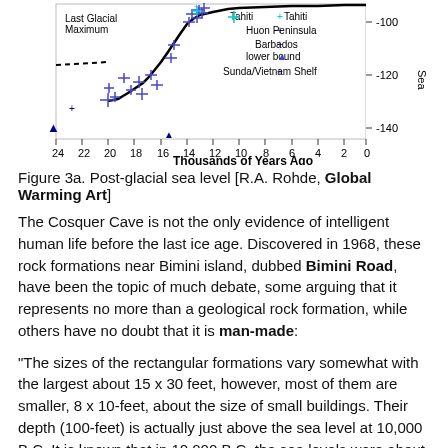[Figure (continuous-plot): Post-glacial sea level chart showing sea level (meters) vs thousands of years ago (0-24 kya). Data points from Tahiti (cyan), Huon Peninsula (blue +), Barbados (blue +), Barbados lower bound (triangle), and Sunda/Vietnam Shelf (blue +). Shows sea level rising from about -130m at 20kya to 0 at present, with a dashed line during Last Glacial Maximum period.]
Figure 3a. Post-glacial sea level [R.A. Rohde, Global Warming Art]
The Cosquer Cave is not the only evidence of intelligent human life before the last ice age. Discovered in 1968, these rock formations near Bimini island, dubbed Bimini Road, have been the topic of much debate, some arguing that it represents no more than a geological rock formation, while others have no doubt that it is man-made:
“The sizes of the rectangular formations vary somewhat with the largest about 15 x 30 feet, however, most of them are smaller, 8 x 10-feet, about the size of small buildings. Their depth (100-feet) is actually just above the sea level at 10,000 B.C. It is known that in 10,000 B.C. the sea levels were about 110-feet lower than today,